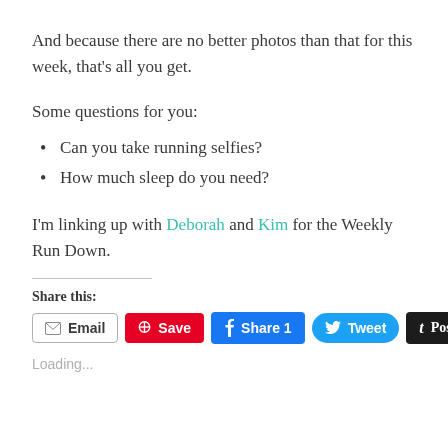And because there are no better photos than that for this week, that’s all you get.
Some questions for you:
Can you take running selfies?
How much sleep do you need?
I’m linking up with Deborah and Kim for the Weekly Run Down.
Share this:
Email  Save  Share 1  Tweet  Post
Loading...